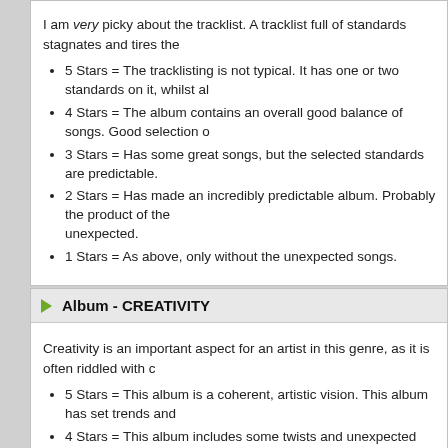I am very picky about the tracklist. A tracklist full of standards stagnates and tires the
5 Stars = The tracklisting is not typical. It has one or two standards on it, whilst al
4 Stars = The album contains an overall good balance of songs. Good selection o
3 Stars = Has some great songs, but the selected standards are predictable.
2 Stars = Has made an incredibly predictable album. Probably the product of the unexpected.
1 Stars = As above, only without the unexpected songs.
Album - CREATIVITY
Creativity is an important aspect for an artist in this genre, as it is often riddled with c
5 Stars = This album is a coherent, artistic vision. This album has set trends and
4 Stars = This album includes some twists and unexpected material or arrangeme
3 Stars = The artist has influenced some of the songs, perhaps composed a little
2 Stars = The artist had no involvement with production, composition or arrangen
1 Stars = The artist must be so excited to have a record deal that they jump wher
Album - ARRANGEMENTS
Arrangements can make or break an album. This refers to how well the songs are a